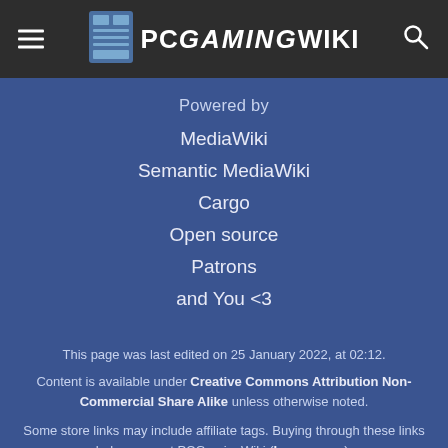PCGamingWiki
Powered by
MediaWiki
Semantic MediaWiki
Cargo
Open source
Patrons
and You <3
This page was last edited on 25 January 2022, at 02:12.
Content is available under Creative Commons Attribution Non-Commercial Share Alike unless otherwise noted.
Some store links may include affiliate tags. Buying through these links helps support PCGamingWiki (Learn more).